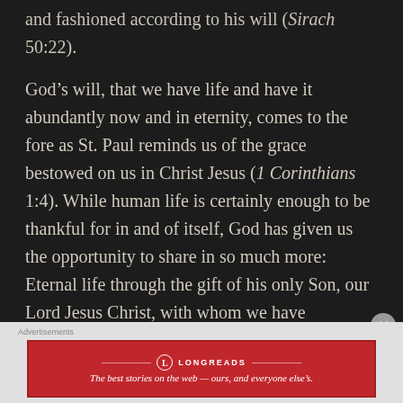and fashioned according to his will (Sirach 50:22).
God’s will, that we have life and have it abundantly now and in eternity, comes to the fore as St. Paul reminds us of the grace bestowed on us in Christ Jesus (1 Corinthians 1:4). While human life is certainly enough to be thankful for in and of itself, God has given us the opportunity to share in so much more: Eternal life through the gift of his only Son, our Lord Jesus Christ, with whom we have fellowship and of whom we partake at every Eucharist just for this purpose
Advertisements
[Figure (other): Longreads advertisement banner: red background with Longreads logo and tagline 'The best stories on the web — ours, and everyone else’s.']